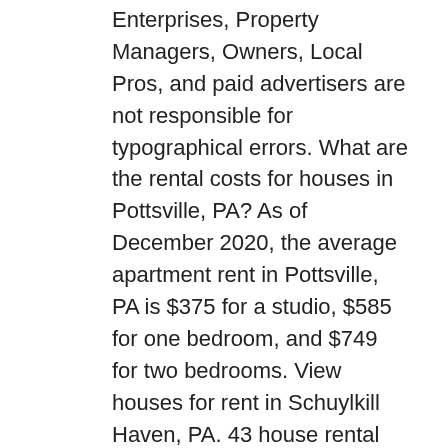Enterprises, Property Managers, Owners, Local Pros, and paid advertisers are not responsible for typographical errors. What are the rental costs for houses in Pottsville, PA? As of December 2020, the average apartment rent in Pottsville, PA is $375 for a studio, $585 for one bedroom, and $749 for two bedrooms. View houses for rent in Schuylkill Haven, PA. 43 house rental listings are currently available. Compare rentals, see map views and save your favorite houses. We surface the largest marketplace of home rentals to search through, so you can feel confident you'll find the best of available houses for rent in Pottsville. Elevator access. Beautiful private large ranch style home. Verified Source Payment (High to Low) Payment (Low to High) Newest Bedrooms Bathrooms Square Feet Lot Size (undisclosed Address), Pottsville, PA 17901. Class A building, Suite #300 available. Search 6 Single Family